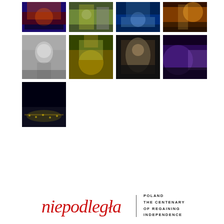[Figure (photo): Grid of 9 event/performance photos from Polish independence centenary celebrations. Row 1: concert with blue/red lights, performers with smoke grenades, nighttime parade with blue lights, evening street scene. Row 2: large puppet/figure costume performer, theatrical stage performance in yellow light, large straw figure at night, aerial acrobatics with blue light. Row 3: nighttime candle/light installation on ground.]
[Figure (logo): Niepodlegla logo: cursive red script reading 'niepodlegla' with vertical divider line and text 'POLAND THE CENTENARY OF REGAINING INDEPENDENCE']